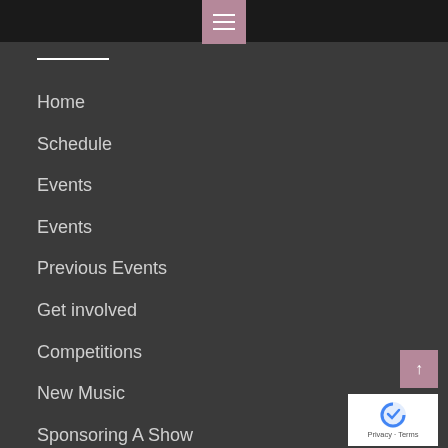[Figure (screenshot): Hamburger menu button with three horizontal white lines on a mauve/pink background, centered in a black top bar]
Home
Schedule
Events
Events
Previous Events
Get involved
Competitions
New Music
Sponsoring A Show
Volunteering
About